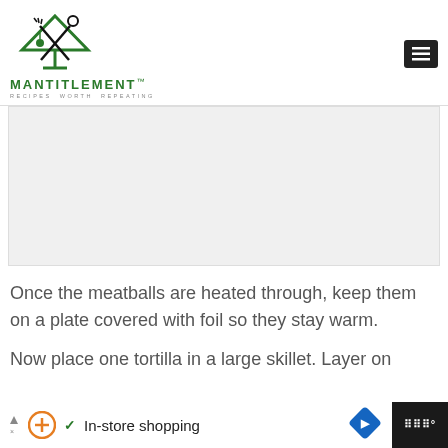[Figure (logo): Mantitlement logo with green martini glass crossed with fork and spoon, text MANTITLEMENT RECIPES WORTH REPEATING]
[Figure (photo): Large image placeholder area (gray/white rectangle) showing a food photo area]
Once the meatballs are heated through, keep them on a plate covered with foil so they stay warm.
Now place one tortilla in a large skillet. Layer on
[Figure (screenshot): Advertisement bar at bottom: In-store shopping with plus icon, checkmark, navigation arrow icon]